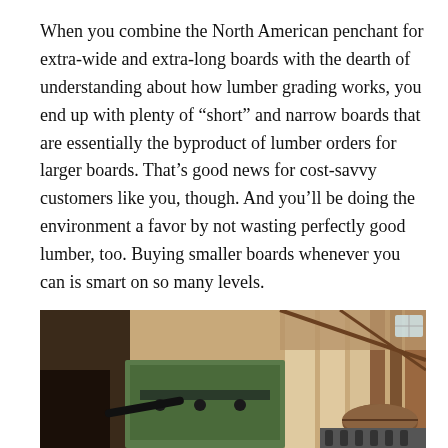When you combine the North American penchant for extra-wide and extra-long boards with the dearth of understanding about how lumber grading works, you end up with plenty of “short” and narrow boards that are essentially the byproduct of lumber orders for larger boards. That’s good news for cost-savvy customers like you, though. And you’ll be doing the environment a favor by not wasting perfectly good lumber, too. Buying smaller boards whenever you can is smart on so many levels.
[Figure (photo): Interior photo of a lumber mill or sawmill facility showing machinery, logs, and wooden structural beams in the background with warm natural light]